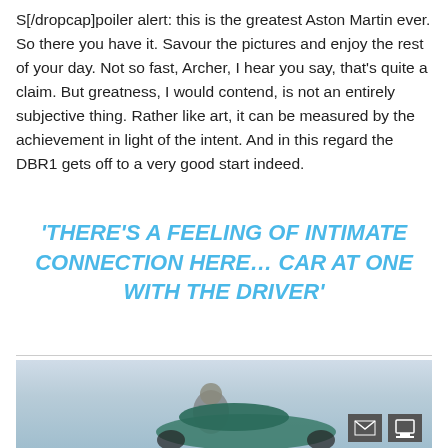S[/dropcap]poiler alert: this is the greatest Aston Martin ever. So there you have it. Savour the pictures and enjoy the rest of your day. Not so fast, Archer, I hear you say, that's quite a claim. But greatness, I would contend, is not an entirely subjective thing. Rather like art, it can be measured by the achievement in light of the intent. And in this regard the DBR1 gets off to a very good start indeed.
'THERE'S A FEELING OF INTIMATE CONNECTION HERE… CAR AT ONE WITH THE DRIVER'
[Figure (photo): Aston Martin DBR1 sports car on track with driver, misty/grey background]